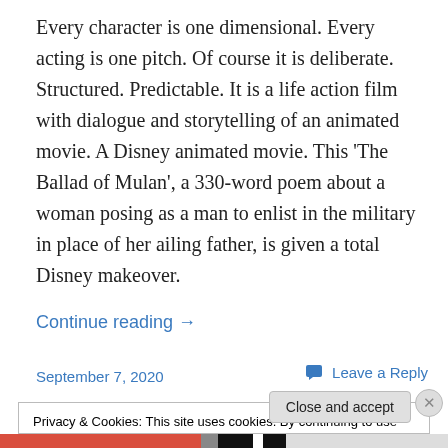Every character is one dimensional. Every acting is one pitch. Of course it is deliberate. Structured. Predictable. It is a life action film with dialogue and storytelling of an animated movie. A Disney animated movie. This ‘The Ballad of Mulan’, a 330-word poem about a woman posing as a man to enlist in the military in place of her ailing father, is given a total Disney makeover.
Continue reading →
September 7, 2020
Leave a Reply
Privacy & Cookies: This site uses cookies. By continuing to use this website, you agree to their use.
To find out more, including how to control cookies, see here: Cookie Policy